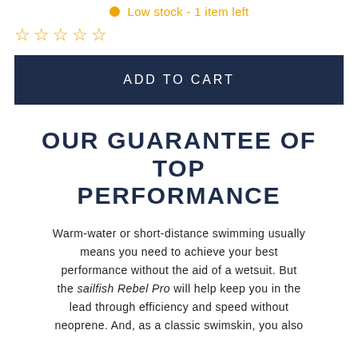Low stock - 1 item left
☆ ☆ ☆ ☆ ☆
ADD TO CART
OUR GUARANTEE OF TOP PERFORMANCE
Warm-water or short-distance swimming usually means you need to achieve your best performance without the aid of a wetsuit. But the sailfish Rebel Pro will help keep you in the lead through efficiency and speed without neoprene. And, as a classic swimskin, you also